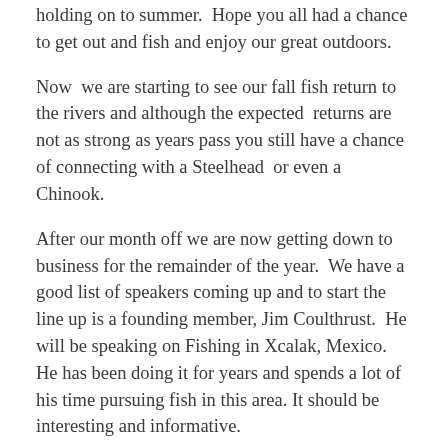holding on to summer.  Hope you all had a chance to get out and fish and enjoy our great outdoors.
Now  we are starting to see our fall fish return to the rivers and although the expected  returns are not as strong as years pass you still have a chance of connecting with a Steelhead  or even a Chinook.
After our month off we are now getting down to business for the remainder of the year.  We have a good list of speakers coming up and to start the line up is a founding member, Jim Coulthrust.  He will be speaking on Fishing in Xcalak, Mexico. He has been doing it for years and spends a lot of his time pursuing fish in this area. It should be interesting and informative.
Of course we will be having a September fish-a-long and